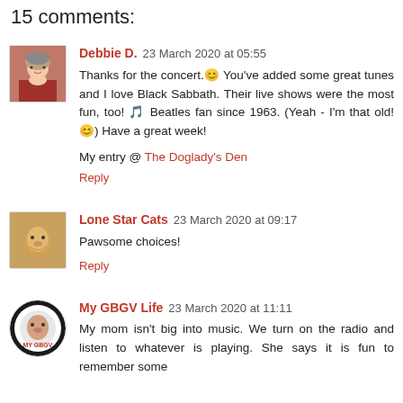15 comments:
Debbie D.  23 March 2020 at 05:55
Thanks for the concert.😊 You've added some great tunes and I love Black Sabbath. Their live shows were the most fun, too! 🎵 Beatles fan since 1963. (Yeah - I'm that old! 😊) Have a great week!

My entry @ The Doglady's Den
Reply
Lone Star Cats  23 March 2020 at 09:17
Pawsome choices!
Reply
My GBGV Life  23 March 2020 at 11:11
My mom isn't big into music. We turn on the radio and listen to whatever is playing. She says it is fun to remember some